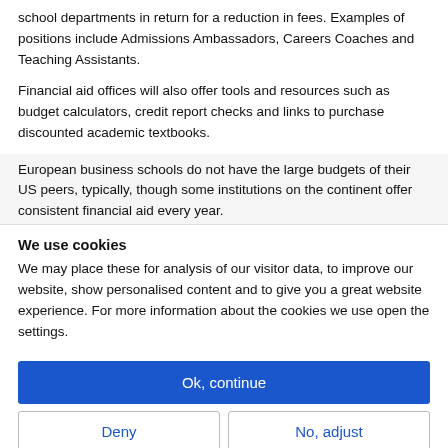school departments in return for a reduction in fees. Examples of positions include Admissions Ambassadors, Careers Coaches and Teaching Assistants.
Financial aid offices will also offer tools and resources such as budget calculators, credit report checks and links to purchase discounted academic textbooks.
European business schools do not have the large budgets of their US peers, typically, though some institutions on the continent offer consistent financial aid every year.
We use cookies
We may place these for analysis of our visitor data, to improve our website, show personalised content and to give you a great website experience. For more information about the cookies we use open the settings.
Ok, continue
Deny
No, adjust